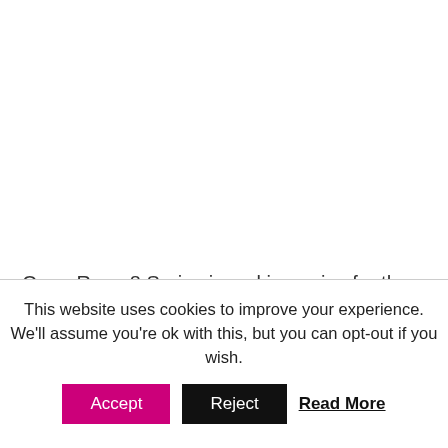Oppo Reno 8 Series is making noise for the past couple of days and now the popular Chinese smartphone brand Oppo has officially confirmed the launching date of the smartphone series and the same will be official later this
This website uses cookies to improve your experience. We'll assume you're ok with this, but you can opt-out if you wish.